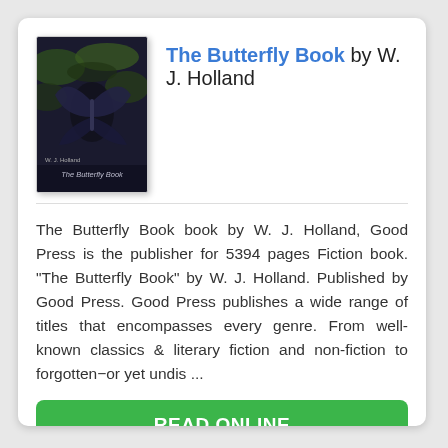[Figure (illustration): Book cover for 'The Butterfly Book' by W.J. Holland, showing a dark background with a butterfly and foliage, with the title printed at the bottom.]
The Butterfly Book by W. J. Holland
The Butterfly Book book by W. J. Holland, Good Press is the publisher for 5394 pages Fiction book. "The Butterfly Book" by W. J. Holland. Published by Good Press. Good Press publishes a wide range of titles that encompasses every genre. From well-known classics & literary fiction and non-fiction to forgotten−or yet undis ...
READ ONLINE